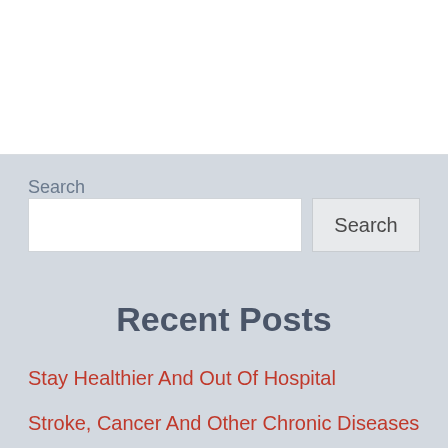Search
Search [input field] Search [button]
Recent Posts
Stay Healthier And Out Of Hospital
Stroke, Cancer And Other Chronic Diseases